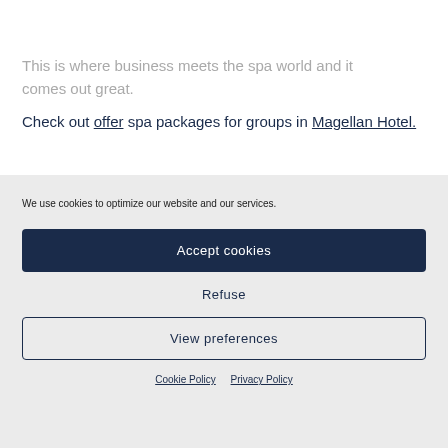HOTEL MAGELLAN
This is where business meets the spa world and it comes out great.
Check out offer spa packages for groups in Magellan Hotel.
We use cookies to optimize our website and our services.
Accept cookies
Refuse
View preferences
Cookie Policy   Privacy Policy